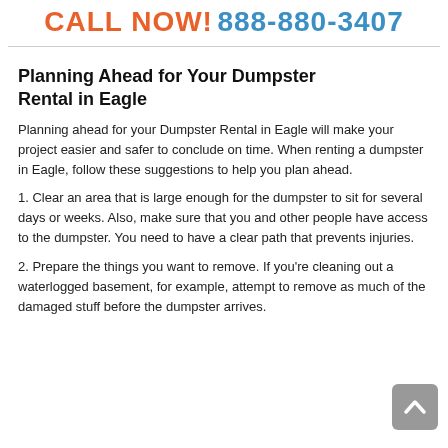Call Now! 888-880-3407
Planning Ahead for Your Dumpster Rental in Eagle
Planning ahead for your Dumpster Rental in Eagle will make your project easier and safer to conclude on time. When renting a dumpster in Eagle, follow these suggestions to help you plan ahead.
1. Clear an area that is large enough for the dumpster to sit for several days or weeks. Also, make sure that you and other people have access to the dumpster. You need to have a clear path that prevents injuries.
2. Prepare the things you want to remove. If you're cleaning out a waterlogged basement, for example, attempt to remove as much of the damaged stuff before the dumpster arrives.